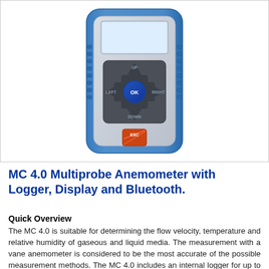[Figure (photo): Photo of the MC 4.0 Multiprobe Anemometer device — a handheld blue and grey instrument with a directional pad (UP, DOWN, LEFT, RIGHT), an OK button in the center, and an orange ESC/power button below, with a white display screen at the top.]
MC 4.0 Multiprobe Anemometer with Logger, Display and Bluetooth.
Quick Overview
The MC 4.0 is suitable for determining the flow velocity, temperature and relative humidity of gaseous and liquid media. The measurement with a vane anemometer is considered to be the most accurate of the possible measurement methods. The MC 4.0 includes an internal logger for up to 1 million readings, Bluetooth